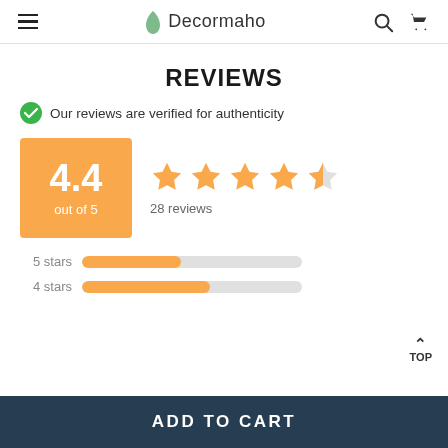Decormaho
REVIEWS
Our reviews are verified for authenticity
[Figure (infographic): Rating box showing 4.4 out of 5 with 4.4 stars displayed (4 full stars and 1 half star), and 28 reviews count]
5 stars - progress bar (approx 45% filled)
4 stars - progress bar (approx 55% filled)
ADD TO CART